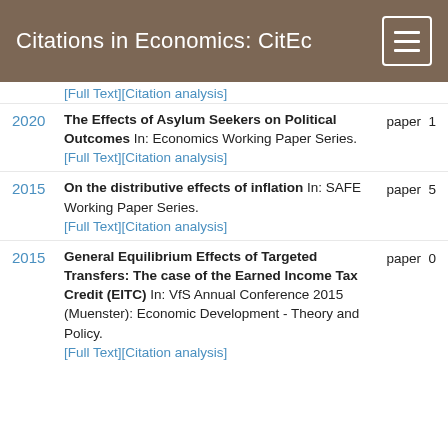Citations in Economics: CitEc
2020 — The Effects of Asylum Seekers on Political Outcomes In: Economics Working Paper Series. [Full Text][Citation analysis] paper 1
2015 — On the distributive effects of inflation In: SAFE Working Paper Series. [Full Text][Citation analysis] paper 5
2015 — General Equilibrium Effects of Targeted Transfers: The case of the Earned Income Tax Credit (EITC) In: VfS Annual Conference 2015 (Muenster): Economic Development - Theory and Policy. [Full Text][Citation analysis] paper 0